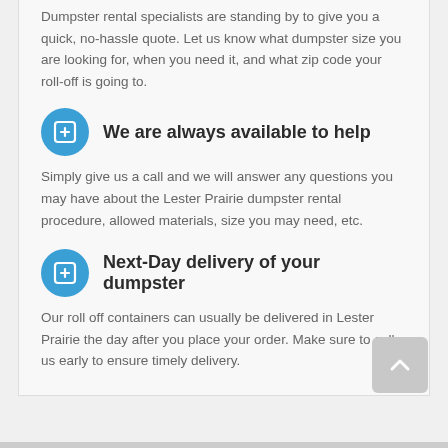Dumpster rental specialists are standing by to give you a quick, no-hassle quote. Let us know what dumpster size you are looking for, when you need it, and what zip code your roll-off is going to.
We are always available to help
Simply give us a call and we will answer any questions you may have about the Lester Prairie dumpster rental procedure, allowed materials, size you may need, etc.
Next-Day delivery of your dumpster
Our roll off containers can usually be delivered in Lester Prairie the day after you place your order. Make sure to call us early to ensure timely delivery.